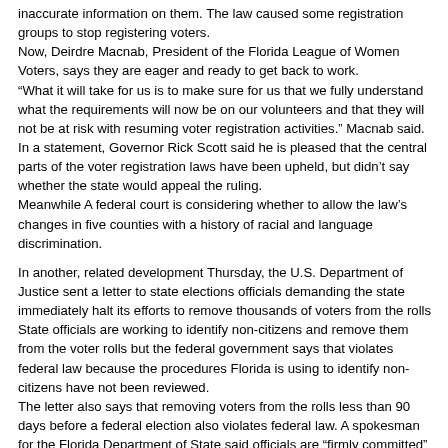inaccurate information on them. The law caused some registration groups to stop registering voters.
Now, Deirdre Macnab, President of the Florida League of Women Voters, says they are eager and ready to get back to work.
“What it will take for us is to make sure for us that we fully understand what the requirements will now be on our volunteers and that they will not be at risk with resuming voter registration activities.” Macnab said.
In a statement, Governor Rick Scott said he is pleased that the central parts of the voter registration laws have been upheld, but didn’t say whether the state would appeal the ruling.
Meanwhile A federal court is considering whether to allow the law’s changes in five counties with a history of racial and language discrimination.
In another, related development Thursday, the U.S. Department of Justice sent a letter to state elections officials demanding the state immediately halt its efforts to remove thousands of voters from the rolls
State officials are working to identify non-citizens and remove them from the voter rolls but the federal government says that violates federal law because the procedures Florida is using to identify non-citizens have not been reviewed.
The letter also says that removing voters from the rolls less than 90 days before a federal election also violates federal law. A spokesman for the Florida Department of State said officials are "firmly committed" to preventing voter fraud and keeping ineligible voters from casting ballots.